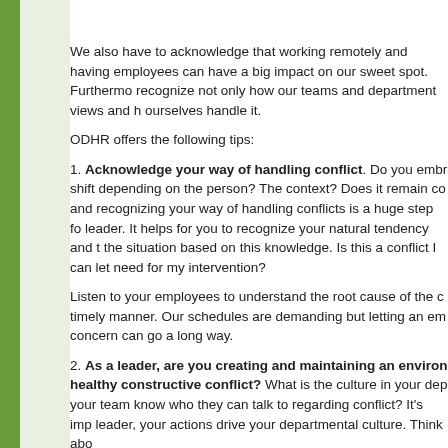We also have to acknowledge that working remotely and having employees can have a big impact on our sweet spot. Furthermore, recognize not only how our teams and department views and h ourselves handle it.
ODHR offers the following tips:
1. Acknowledge your way of handling conflict. Do you embr shift depending on the person? The context? Does it remain co and recognizing your way of handling conflicts is a huge step f leader. It helps for you to recognize your natural tendency and the situation based on this knowledge. Is this a conflict I can let need for my intervention?
Listen to your employees to understand the root cause of the c timely manner. Our schedules are demanding but letting an em concern can go a long way.
2. As a leader, are you creating and maintaining an environ healthy constructive conflict? What is the culture in your dep your team know who they can talk to regarding conflict? It's imp leader, your actions drive your departmental culture. Think ab